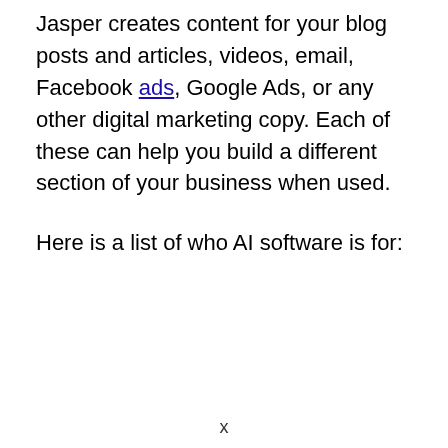Jasper creates content for your blog posts and articles, videos, email, Facebook ads, Google Ads, or any other digital marketing copy. Each of these can help you build a different section of your business when used.
Here is a list of who AI software is for:
x